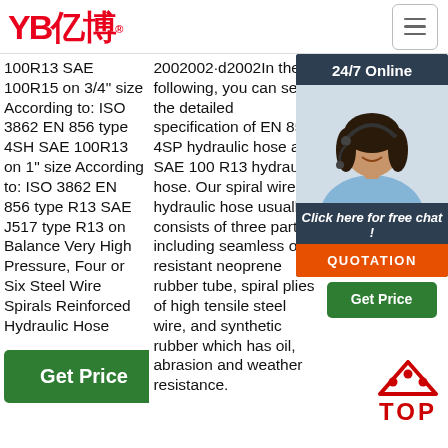[Figure (logo): YB亿博 logo in red with registered trademark symbol]
100R13 SAE 100R15 on 3/4" size According to: ISO 3862 EN 856 type 4SH SAE 100R13 on 1" size According to: ISO 3862 EN 856 type R13 SAE J517 type R13 on Balance Very High Pressure, Four or Six Steel Wire Spirals Reinforced Hydraulic Hose
2002002·d2002In the following, you can see the detailed specification of EN 856 4SP hydraulic hose and SAE 100 R13 hydraulic hose. Our spiral wire hydraulic hose usually consists of three parts including seamless oil resistant neoprene rubber tube, spiral plies of high tensile steel wire, and synthetic rubber which has oil, abrasion and weather resistance.
Pressure Hydraulic Hos… SAE 100 R15 enfo… or 6… hav… imp… cus… hyd… gua… qua…
[Figure (photo): Customer service chat widget with 24/7 Online label, photo of woman with headset, Click here for free chat text, QUOTATION button]
[Figure (other): TOP scroll-to-top icon with red triangle and dots above text TOP in red]